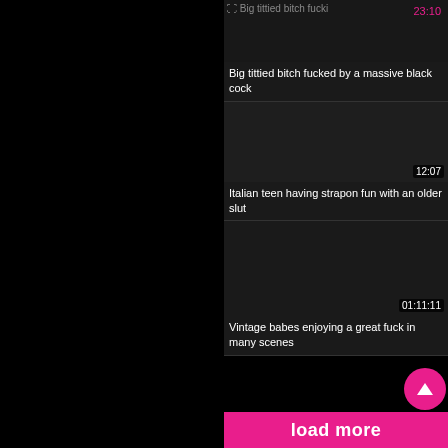[Figure (screenshot): Video thumbnail placeholder (broken image icon) with duration 23:10 in pink, for video titled 'Big tittied bitch fucked by a massive black cock']
Big tittied bitch fucked by a massive black cock
[Figure (screenshot): Dark video thumbnail with duration 12:07, for video titled 'Italian teen having strapon fun with an older slut']
Italian teen having strapon fun with an older slut
[Figure (screenshot): Dark video thumbnail with duration 01:11:11, for video titled 'Vintage babes enjoying a great fuck in many scenes']
Vintage babes enjoying a great fuck in many scenes
load more